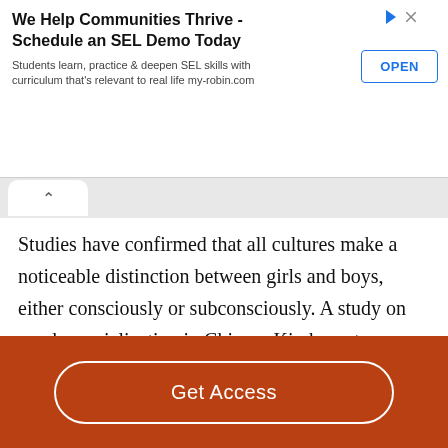[Figure (screenshot): Advertisement banner: 'We Help Communities Thrive - Schedule an SEL Demo Today' with OPEN button. Subtitle: 'Students learn, practice & deepen SEL skills with curriculum that's relevant to real life my-robin.com']
Studies have confirmed that all cultures make a noticeable distinction between girls and boys, either consciously or subconsciously. A study on gender socialization in Chinese Kindergartens (Chen & Rao, 2010) states that although the Hong Kong government does not require the teacher to
Get Access